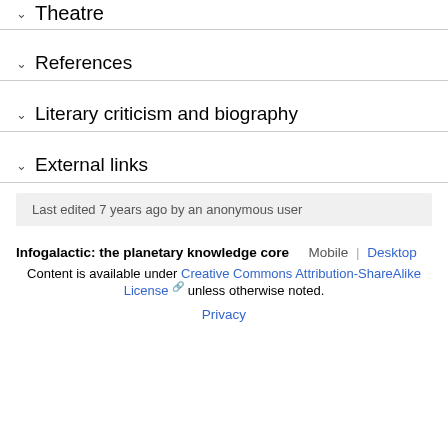Theatre
References
Literary criticism and biography
External links
Last edited 7 years ago by an anonymous user
Infogalactic: the planetary knowledge core   Mobile  |  Desktop
Content is available under Creative Commons Attribution-ShareAlike License unless otherwise noted.
Privacy